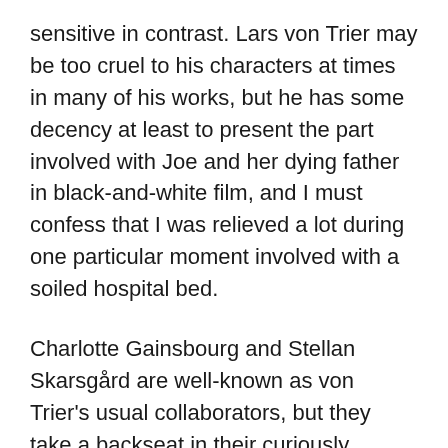sensitive in contrast. Lars von Trier may be too cruel to his characters at times in many of his works, but he has some decency at least to present the part involved with Joe and her dying father in black-and-white film, and I must confess that I was relieved a lot during one particular moment involved with a soiled hospital bed.
Charlotte Gainsbourg and Stellan Skarsgård are well-known as von Trier's usual collaborators, but they take a backseat in their curiously colorless performances. I guess that was an intentional acting choice; Joe is numb and empty at that point as a world-weary woman who has seen it all, and Seligman is just mildly interested in her story as trying to understand and persuade her that she is not a bad woman as she thinks, and that is all they will express through their faces as they talk and talk through their long night.